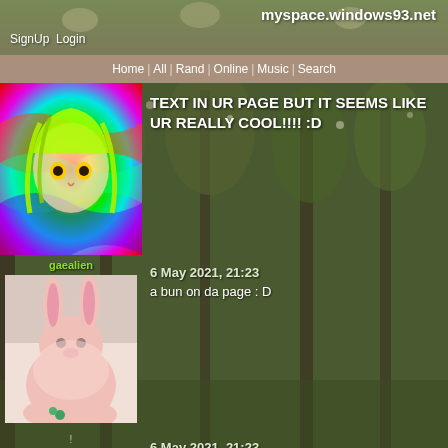myspace.windows93.net
SignUp  Login
Home | All | Rand | Online | Music | Search
[Figure (illustration): Psychedelic anime girl avatar with colorful swirling background]
TEXT IN UR PAGE BUT IT SEEMS LIKE UR REALLY COOL!!!! :D
gaealien
[Figure (photo): Pink fluffy bunny sitting on floor]
6 May 2021, 21:23
a bun on da page : D
!
[Figure (illustration): Black and white sketch of an anime character]
6 May 2021, 21:23
when was i ever friends with you ??? because like ur momma so fat that ummmmm uhhhh